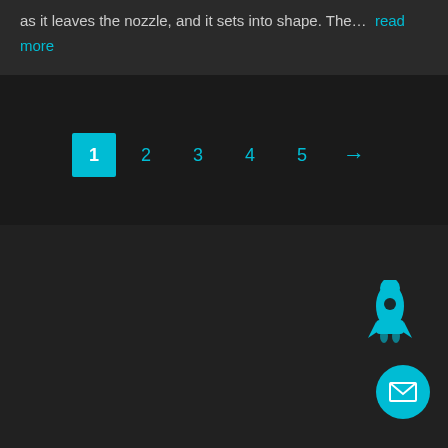as it leaves the nozzle, and it sets into shape. The... read more
[Figure (screenshot): Pagination control showing pages 1 (active/highlighted in cyan), 2, 3, 4, 5, and a next arrow]
[Figure (illustration): Dark panel with a cyan rocket icon in the upper right and a cyan circular mail/envelope button in the lower right]